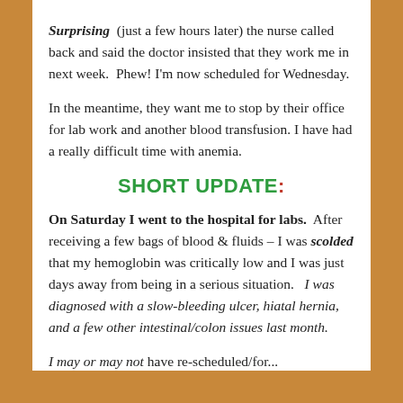Surprising (just a few hours later) the nurse called back and said the doctor insisted that they work me in next week. Phew! I'm now scheduled for Wednesday.
In the meantime, they want me to stop by their office for lab work and another blood transfusion. I have had a really difficult time with anemia.
SHORT UPDATE:
On Saturday I went to the hospital for labs. After receiving a few bags of blood & fluids – I was scolded that my hemoglobin was critically low and I was just days away from being in a serious situation. I was diagnosed with a slow-bleeding ulcer, hiatal hernia, and a few other intestinal/colon issues last month.
I may or may not have scheduled/re-scheduled/for...